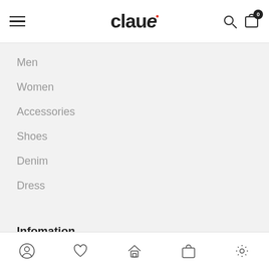claue
Men
Women
Accessories
Shoes
Denim
Dress
Infomation
Bottom navigation bar with profile, wishlist, home, cart, settings icons